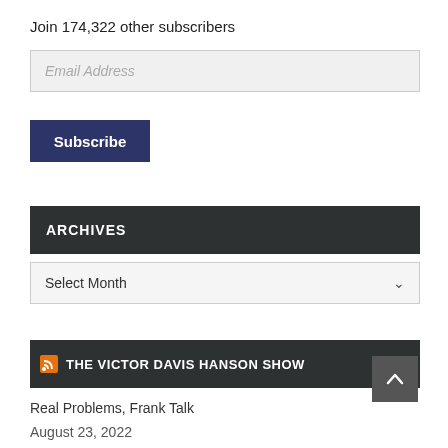Join 174,322 other subscribers
Email Address
Subscribe
ARCHIVES
Select Month
THE VICTOR DAVIS HANSON SHOW
Real Problems, Frank Talk
August 23, 2022